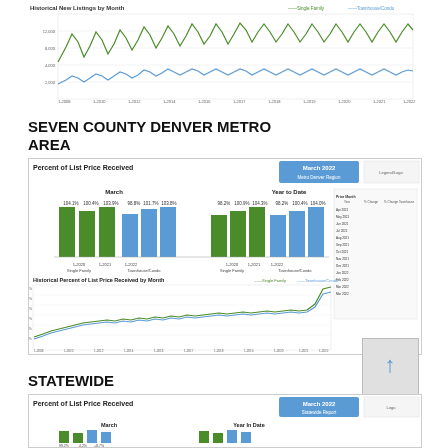[Figure (line-chart): Two line chart showing historical new listings by month with green line (Single Family) showing seasonal peaks and blue line (Townhouse/Condo) lower. X-axis spans approximately 2008 to 2022.]
SEVEN COUNTY DENVER METRO AREA
[Figure (grouped-bar-chart): March 2022 Metro Denver Region report showing grouped bar chart with March and Year to Date columns comparing Single Family and Townhouse/Condo percent of list price received, with values around 98-104%. Includes data table on right side.]
[Figure (line-chart): Two line chart showing historical percent of list price received by month (green = Single Family, blue = Townhouse/Condo). Values trend upward from ~90% around 2008 to peaks of ~115% in 2022.]
[Figure (other): Navigation arrow box pointing upward]
STATEWIDE
[Figure (grouped-bar-chart): March 2022 Statewide Report showing bar chart with March and Year to Date data for Single Family and Townhouse/Condo percent of list price received.]